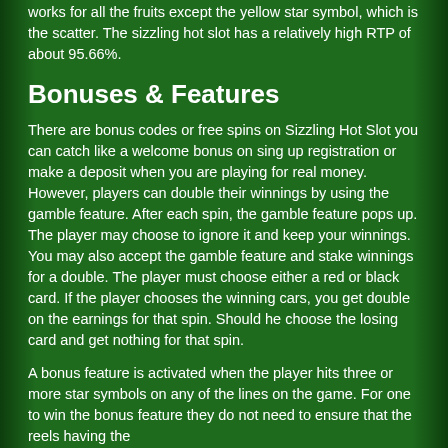works for all the fruits except the yellow star symbol, which is the scatter. The sizzling hot slot has a relatively high RTP of about 95.66%.
Bonuses & Features
There are bonus codes or free spins on Sizzling Hot Slot you can catch like a welcome bonus on sing up registration or make a deposit when you are playing for real money. However, players can double their winnings by using the gamble feature. After each spin, the gamble feature pops up. The player may choose to ignore it and keep your winnings. You may also accept the gamble feature and stake winnings for a double. The player must choose either a red or black card. If the player chooses the winning cars, you get double on the earnings for that spin. Should he choose the losing card and get nothing for that spin.
A bonus feature is activated when the player hits three or more star symbols on any of the lines on the game. For one to win the bonus feature they do not need to ensure that the reels having the